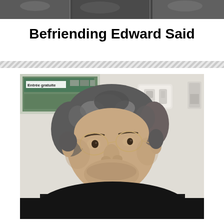[Figure (photo): Top strip showing partial photo images at the top of the page]
Befriending Edward Said
[Figure (photo): Portrait photograph of an elderly man with curly grey hair and glasses, wearing a black turtleneck sweater, seated in front of a white wall with a light switch. In the background there is a sign reading 'Entrée gratuite'.]